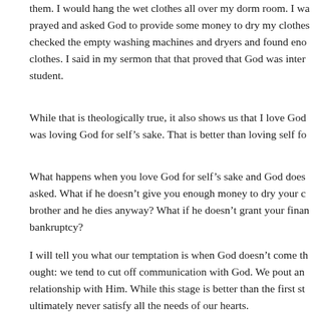them. I would hang the wet clothes all over my dorm room. I wa prayed and asked God to provide some money to dry my clothe checked the empty washing machines and dryers and found eno clothes. I said in my sermon that that proved that God was inter student.
While that is theologically true, it also shows us that I love God was loving God for self's sake. That is better than loving self fo
What happens when you love God for self's sake and God does asked. What if he doesn't give you enough money to dry your c brother and he dies anyway? What if he doesn't grant your finan bankruptcy?
I will tell you what our temptation is when God doesn't come th ought: we tend to cut off communication with God. We pout an relationship with Him. While this stage is better than the first st ultimately never satisfy all the needs of our hearts.